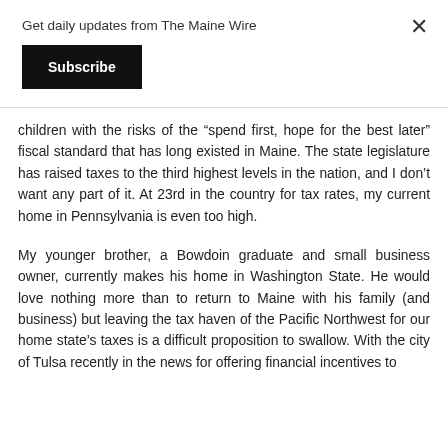Get daily updates from The Maine Wire
Subscribe
children with the risks of the “spend first, hope for the best later” fiscal standard that has long existed in Maine. The state legislature has raised taxes to the third highest levels in the nation, and I don’t want any part of it. At 23rd in the country for tax rates, my current home in Pennsylvania is even too high.
My younger brother, a Bowdoin graduate and small business owner, currently makes his home in Washington State. He would love nothing more than to return to Maine with his family (and business) but leaving the tax haven of the Pacific Northwest for our home state’s taxes is a difficult proposition to swallow. With the city of Tulsa recently in the news for offering financial incentives to